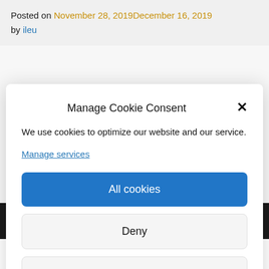Posted on November 28, 2019December 16, 2019 by ileu
Manage Cookie Consent
We use cookies to optimize our website and our service.
Manage services
All cookies
Deny
View preferences
Cookie policy
Alina Rumega from